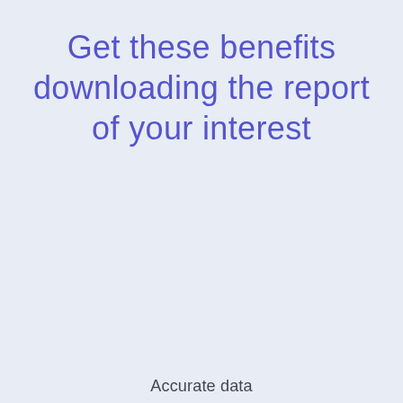Get these benefits downloading the report of your interest
Accurate data